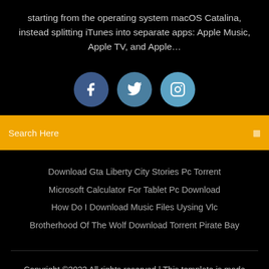starting from the operating system macOS Catalina, instead splitting iTunes into separate apps: Apple Music, Apple TV, and Apple…
[Figure (infographic): Three social media icons: Facebook (dark blue circle with 'f'), Twitter (medium blue circle with bird icon), Instagram (light blue circle with camera icon)]
Search Here
Download Gta Liberty City Stories Pc Torrent
Microsoft Calculator For Tablet Pc Download
How Do I Download Music Files Uysing Vlc
Brotherhood Of The Wolf Download Torrent Pirate Bay
Copyright ©2022 All rights reserved | This template is made with ♡ by Colorlib